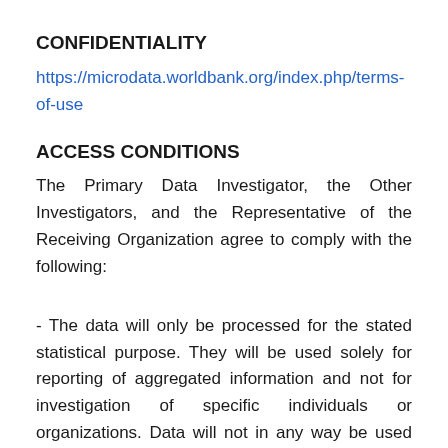CONFIDENTIALITY
https://microdata.worldbank.org/index.php/terms-of-use
ACCESS CONDITIONS
The Primary Data Investigator, the Other Investigators, and the Representative of the Receiving Organization agree to comply with the following:
- The data will only be processed for the stated statistical purpose. They will be used solely for reporting of aggregated information and not for investigation of specific individuals or organizations. Data will not in any way be used for any